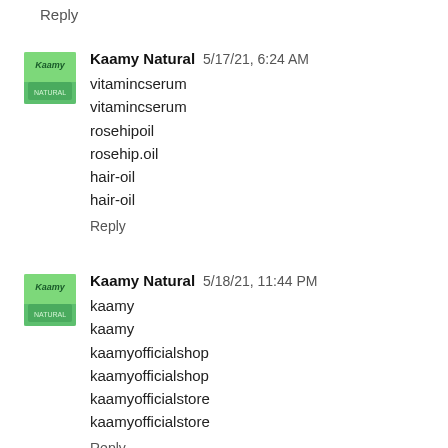Reply
Kaamy Natural  5/17/21, 6:24 AM
vitamincserum
vitamincserum
rosehipoil
rosehip.oil
hair-oil
hair-oil
Reply
Kaamy Natural  5/18/21, 11:44 PM
kaamy
kaamy
kaamyofficialshop
kaamyofficialshop
kaamyofficialstore
kaamyofficialstore
Reply